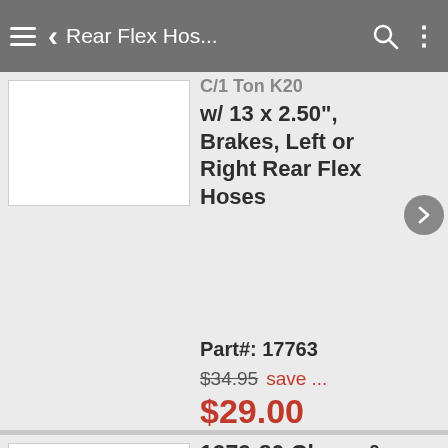Rear Flex Hos...
w/ 13 x 2.50", Brakes, Left or Right Rear Flex Hoses
Part#: 17763
$34.95 save ... $29.00
1979-80 Chevy &